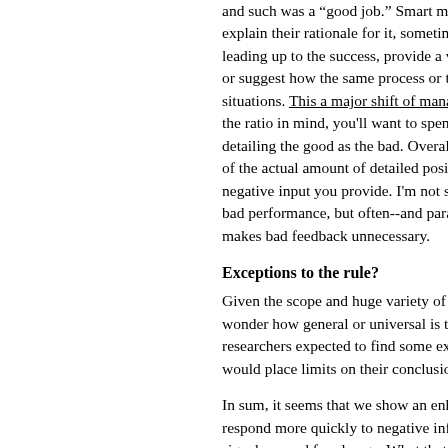and such was a "good job." Smart managers explain their rationale for it, sometimes detailing leading up to the success, provide a verbal or suggest how the same process or tool situations. This a major shift of managerial the ratio in mind, you'll want to spend five detailing the good as the bad. Overall, you of the actual amount of detailed positive negative input you provide. I'm not suggesting bad performance, but often--and paradoxically makes bad feedback unnecessary.
Exceptions to the rule?
Given the scope and huge variety of the wonder how general or universal is this principle researchers expected to find some exceptions would place limits on their conclusion, but
In sum, it seems that we show an enhanced respond more quickly to negative information signals a need for change. What that means who have developed an adroit ability to process negative cues are liable to become better and achieve success both in our work and